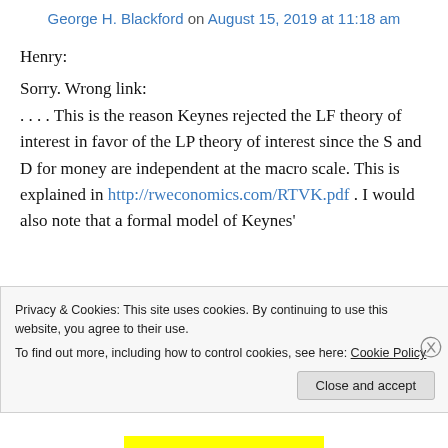George H. Blackford on August 15, 2019 at 11:18 am
Henry:
Sorry. Wrong link:
. . . . This is the reason Keynes rejected the LF theory of interest in favor of the LP theory of interest since the S and D for money are independent at the macro scale. This is explained in http://rweconomics.com/RTVK.pdf . I would also note that a formal model of Keynes'
Privacy & Cookies: This site uses cookies. By continuing to use this website, you agree to their use.
To find out more, including how to control cookies, see here: Cookie Policy